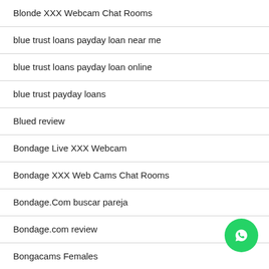Blonde XXX Webcam Chat Rooms
blue trust loans payday loan near me
blue trust loans payday loan online
blue trust payday loans
Blued review
Bondage Live XXX Webcam
Bondage XXX Web Cams Chat Rooms
Bondage.Com buscar pareja
Bondage.com review
Bongacams Females
BongaCams Live
BongaCams XXX Cams Chat Rooms
bookofmatches review